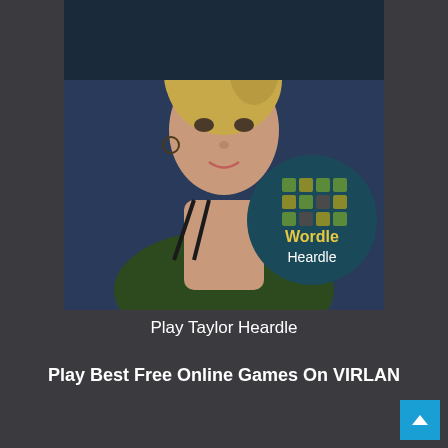[Figure (photo): Thumbnail image of a woman (Taylor Swift) with a circular Wordle Heardle game logo overlay in the bottom right corner of the image. The logo shows a dark teal circle with a green/yellow tile grid, the word 'Wordle' in yellow, and 'Heardle' in white below.]
Play Taylor Heardle
Play Best Free Online Games On VIRLAN